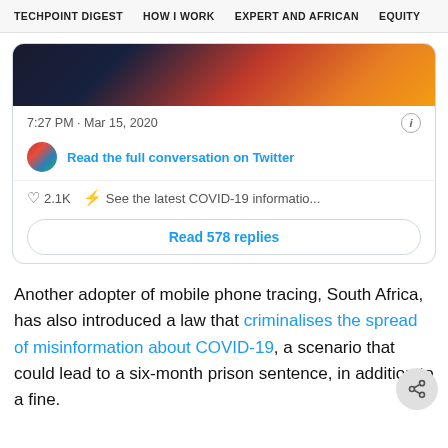TECHPOINT DIGEST   HOW I WORK   EXPERT AND AFRICAN   EQUITY
[Figure (screenshot): Embedded Twitter/X tweet card showing a photo thumbnail, timestamp '7:27 PM · Mar 15, 2020', a 'Read the full conversation on Twitter' link, like count '2.1K', COVID-19 info prompt, and a 'Read 578 replies' button]
Another adopter of mobile phone tracing, South Africa, has also introduced a law that criminalises the spread of misinformation about COVID-19, a scenario that could lead to a six-month prison sentence, in addition to a fine.